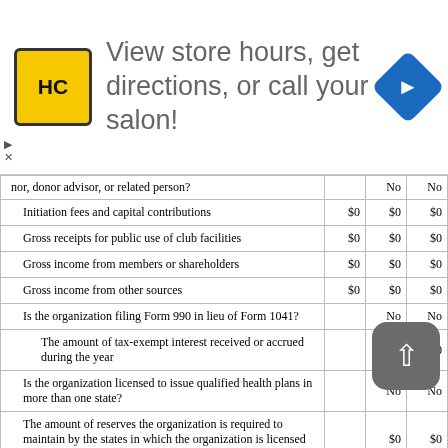[Figure (other): Advertisement banner: Hair Club (HC) logo in yellow square, text 'View store hours, get directions, or call your salon!', blue navigation diamond icon on right, with X and play icons on left side]
| Description |  | No | No |
| --- | --- | --- | --- |
| nor, donor advisor, or related person? |  | No | No |
| Initiation fees and capital contributions | $0 | $0 | $0 |
| Gross receipts for public use of club facilities | $0 | $0 | $0 |
| Gross income from members or shareholders | $0 | $0 | $0 |
| Gross income from other sources | $0 | $0 | $0 |
| Is the organization filing Form 990 in lieu of Form 1041? |  | No | No |
| The amount of tax-exempt interest received or accrued during the year |  | $0 | $0 |
| Is the organization licensed to issue qualified health plans in more than one state? |  | No | No |
| The amount of reserves the organization is required to maintain by the states in which the organization is licensed to issue qualified health plans |  | $0 | $0 |
| The amount of reserves on hand |  |  | $0 |
| Did the organization receive any payments for indoor tanning services during the tax year? |  | No | No |